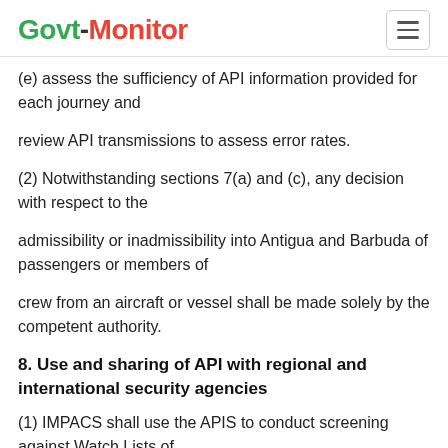Govt-Monitor
(e) assess the sufficiency of API information provided for each journey and
review API transmissions to assess error rates.
(2) Notwithstanding sections 7(a) and (c), any decision with respect to the
admissibility or inadmissibility into Antigua and Barbuda of passengers or members of
crew from an aircraft or vessel shall be made solely by the competent authority.
8. Use and sharing of API with regional and international security agencies
(1) IMPACS shall use the APIS to conduct screening against Watch Lists of